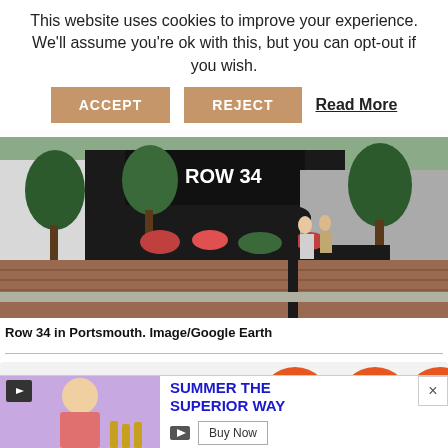This website uses cookies to improve your experience. We'll assume you're ok with this, but you can opt-out if you wish.
ACCEPT   REJECT   Read More
[Figure (photo): Street-level view of Row 34 restaurant in Portsmouth, with black awning, flower planters, brick sidewalk, and pedestrians visible]
Row 34 in Portsmouth. Image/Google Earth
[Figure (logo): FED logo with orange circular food icons (plate with fork, domed dish cover) and large block letters]
[Figure (screenshot): Advertisement banner reading SUMMER THE SUPERIOR WAY with a Buy Now button, and a person holding a beer bottle at a table]